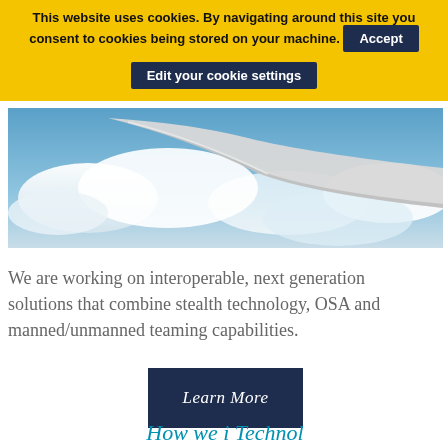This website uses cookies. By navigating around this site you consent to cookies being stored on your machine. Accept
Edit your cookie settings
[Figure (photo): Aerial view of an aircraft wing above clouds, sky visible in background]
We are working on interoperable, next generation solutions that combine stealth technology, OSA and manned/unmanned teaming capabilities.
Learn More
How we i Technol...